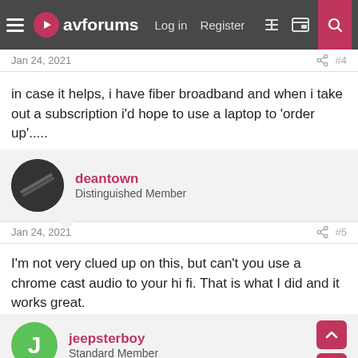avforums | Log in | Register
Jan 24, 2021 #4
in case it helps, i have fiber broadband and when i take out a subscription i'd hope to use a laptop to 'order up'.....
deantown
Distinguished Member
Jan 24, 2021 #5
I'm not very clued up on this, but can't you use a chrome cast audio to your hi fi. That is what I did and it works great.
jeepsterboy
Standard Member
Jan 24, 2021 #6
thanks! well, i'm so un-clued up i had to google chrome cast